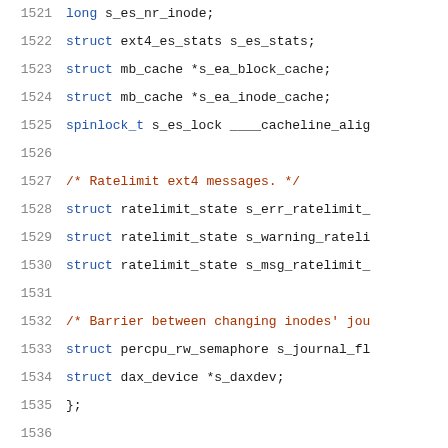Code listing lines 1521-1541, C source code for ext4 filesystem structures
1521: long s_es_nr_inode;
1522: struct ext4_es_stats s_es_stats;
1523: struct mb_cache *s_ea_block_cache;
1524: struct mb_cache *s_ea_inode_cache;
1525: spinlock_t s_es_lock ____cacheline_alig
1526: (blank)
1527: /* Ratelimit ext4 messages. */
1528: struct ratelimit_state s_err_ratelimit_
1529: struct ratelimit_state s_warning_rateli
1530: struct ratelimit_state s_msg_ratelimit_
1531: (blank)
1532: /* Barrier between changing inodes' jou
1533: struct percpu_rw_semaphore s_journal_fl
1534: struct dax_device *s_daxdev;
1535: };
1536: (blank)
1537: static inline struct ext4_sb_info *EXT4_SB(stru
1538: {
1539: return sb->s_fs_info;
1540: }
1541: static inline struct ext4_inode_info *EXT4_I(st